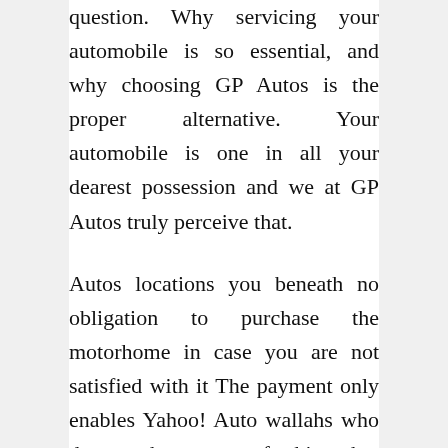question. Why servicing your automobile is so essential, and why choosing GP Autos is the proper alternative. Your automobile is one in all your dearest possession and we at GP Autos truly perceive that.
Autos locations you beneath no obligation to purchase the motorhome in case you are not satisfied with it The payment only enables Yahoo! Auto wallahs who does not have meters for his or her autos will demand a hell lot of quantity (which is not the rut...